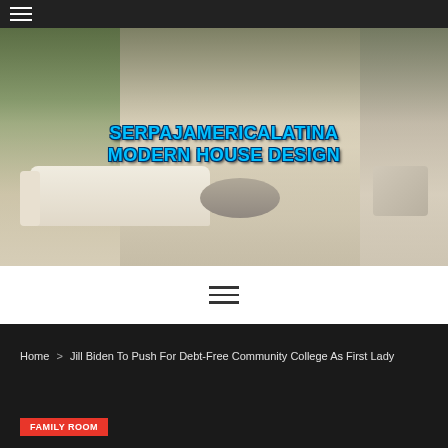[Figure (screenshot): Top navigation hamburger menu icon on dark background bar]
[Figure (photo): Modern luxury living room interior with large open space, sectional sofa, round coffee table, and staircase in background. Overlaid with text reading SERPAJAMERICALATINA MODERN HOUSE DESIGN in blue bold font.]
[Figure (other): Center navigation bar with hamburger menu icon on white background]
Home > Jill Biden To Push For Debt-Free Community College As First Lady
FAMILY ROOM